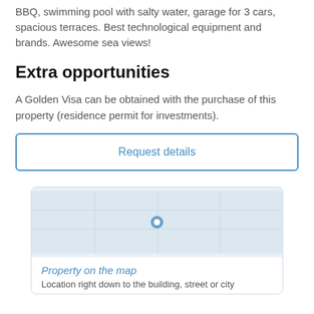BBQ, swimming pool with salty water, garage for 3 cars, spacious terraces. Best technological equipment and brands. Awesome sea views!
Extra opportunities
A Golden Visa can be obtained with the purchase of this property (residence permit for investments).
Request details
[Figure (map): Map placeholder showing property location]
Property on the map
Location right down to the building, street or city